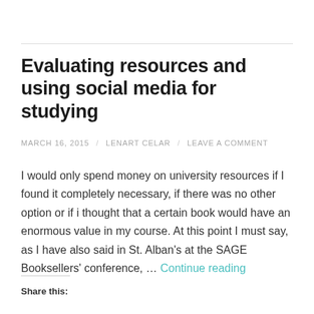Evaluating resources and using social media for studying
MARCH 16, 2015 / LENART CELAR / LEAVE A COMMENT
I would only spend money on university resources if I found it completely necessary, if there was no other option or if i thought that a certain book would have an enormous value in my course. At this point I must say, as I have also said in St. Alban's at the SAGE Booksellers' conference, … Continue reading
Share this: